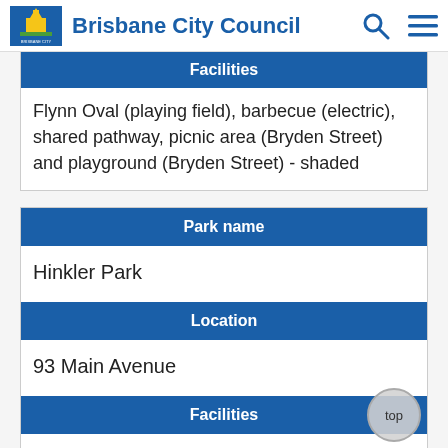Brisbane City Council
Facilities
Flynn Oval (playing field), barbecue (electric), shared pathway, picnic area (Bryden Street) and playground (Bryden Street) - shaded
Park name
Hinkler Park
Location
93 Main Avenue
Facilities
Barbecue (electric), water (bubbler/taps), picnic area, playground (shaded) and shelter